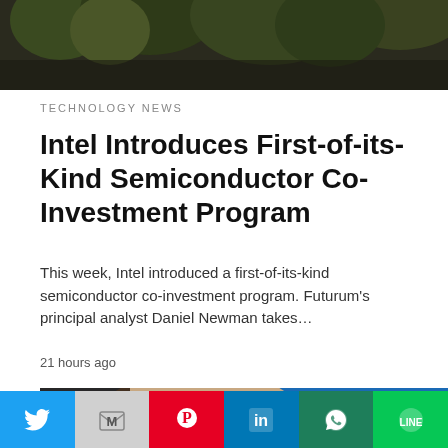[Figure (photo): Outdoor scene with trees, dark foliage against sky]
TECHNOLOGY NEWS
Intel Introduces First-of-its-Kind Semiconductor Co-Investment Program
This week, Intel introduced a first-of-its-kind semiconductor co-investment program. Futurum's principal analyst Daniel Newman takes…
21 hours ago
[Figure (photo): A hand holding a semiconductor chip against a blue background, with a circular dark scroll-to-top button overlay]
[Figure (infographic): Share bar with Twitter, Gmail, Pinterest, LinkedIn, WhatsApp, and LINE buttons]